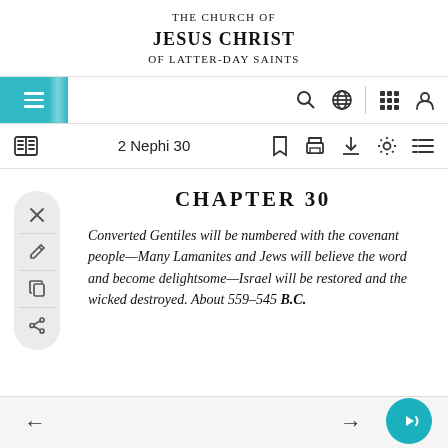THE CHURCH OF JESUS CHRIST OF LATTER-DAY SAINTS
2 Nephi 30
CHAPTER 30
Converted Gentiles will be numbered with the covenant people—Many Lamanites and Jews will believe the word and become delightsome—Israel will be restored and the wicked destroyed. About 559–545 B.C.